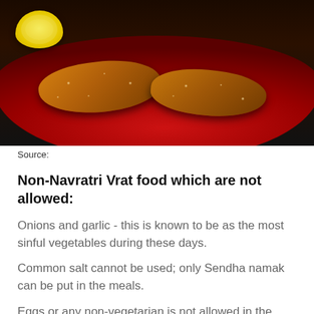[Figure (photo): Photo of breaded food items (possibly vrat/snack patties) on a red plate with a lemon wedge, dark background]
Source:
Non-Navratri Vrat food which are not allowed:
Onions and garlic - this is known to be as the most sinful vegetables during these days.
Common salt cannot be used; only Sendha namak can be put in the meals.
Eggs or any non-vegetarian is not allowed in the house. Some people throw or keep their cutlery out in which they used to cook non-vegetarian earlier. They clean their fridge and makes sure that nothing is there which